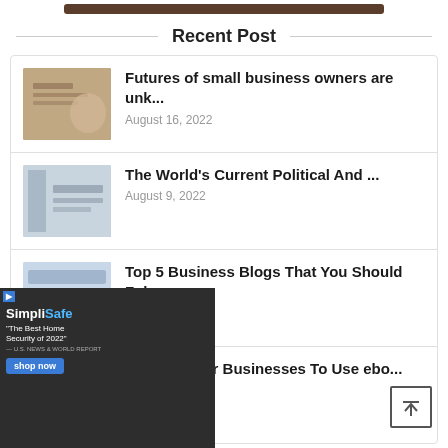[Figure (screenshot): Top decorative bar element]
Recent Post
Futures of small business owners are unk... — August 16, 2022
The World's Current Political And ... — August 9, 2022
Top 5 Business Blogs That You Should Fol... — August 7, 2022
se Cases For Businesses To Use ebo... — August 7, 2022
[Figure (photo): SimpliSafe advertisement overlay showing a home security keypad being pressed, with text 'The Best Home Security of 2022']